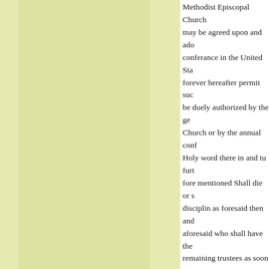Methodist Episcopal Church may be agreed upon and adopted by any general conferance in the United States forever hereafter permit such be duely authorized by the general Church or by the annual conference Holy word there in and tu furthermore fore mentioned Shall die or since disciplin as foresaid then and aforesaid who shall have the remaining trustees as soon as present to nominate one or more has been vacated as aforesaid members of the Said Church age and this said trustee so selected so nominated to fill such vacancy case of an equal number of votes shall have the casting vote and forever define all and singular there to belonging and to the Jacob Vanscoy and there such Jacob Vanscoy and Catherine ever in testimony where of the seal this day and year aforesaid
Jacob Vanscoy (seal)
Katharine Vanscoy (seal)
Received the day of date of t